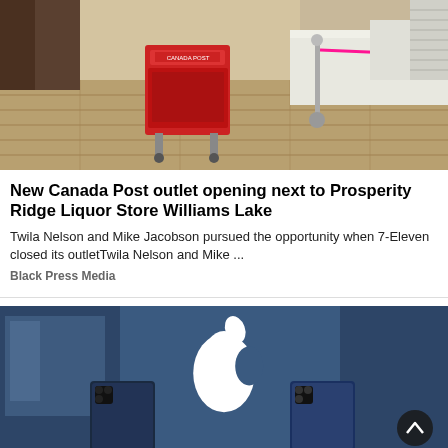[Figure (photo): Interior of a Canada Post outlet showing a red mailbox/cart on a wood floor, white service counter with pink barrier tape, and a stanchion barrier in the background.]
New Canada Post outlet opening next to Prosperity Ridge Liquor Store Williams Lake
Twila Nelson and Mike Jacobson pursued the opportunity when 7-Eleven closed its outletTwila Nelson and Mike ...
Black Press Media
[Figure (photo): Apple Store window display showing white Apple logo over blue-tinted reflective glass with iPhone models visible in the background. A dark scroll-up button is visible in the lower right.]